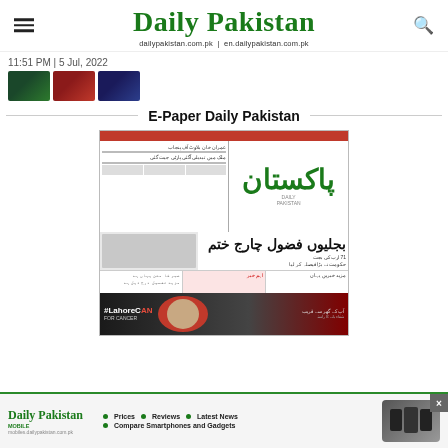Daily Pakistan — dailypakistan.com.pk | en.dailypakistan.com.pk
11:51 PM | 5 Jul, 2022
[Figure (photo): Three thumbnail images from Daily Pakistan news articles]
E-Paper Daily Pakistan
[Figure (photo): E-Paper front page of Daily Pakistan newspaper dated 5 Jul 2022, showing Urdu headlines and a #LahoreCANForCancer advertisement banner]
[Figure (photo): Daily Pakistan Mobile advertisement banner showing Prices, Reviews, Latest News, Compare Smartphones and Gadgets, with phone image on right and close button]